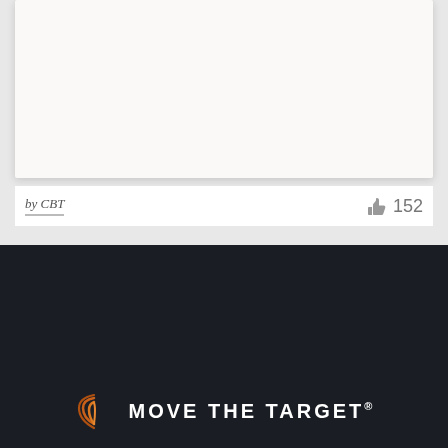[Figure (other): White card/panel area at top of page, largely empty]
by CBT
152
[Figure (logo): Move The Target logo on dark navy background with orange arc/signal icon]